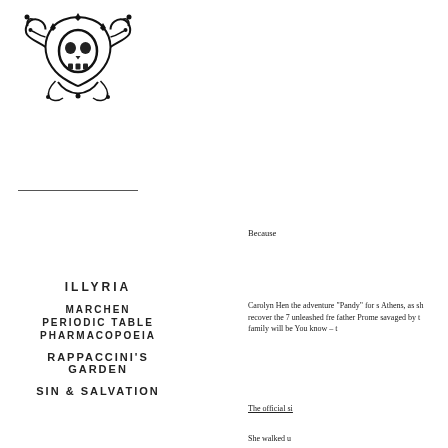[Figure (illustration): Decorative skull with ornate floral/vine border in black and white]
ILLYRIA
MARCHEN
PERIODIC TABLE
PHARMACOPOEIA
RAPPACCINI'S GARDEN
SIN & SALVATION
Because
Carolyn Hen... the adventure... "Pandy" for s... Athens, as sh... recover the 7... unleashed fre... father Prome... savaged by t... family will be... You know – t...
The official si...
She walked u...